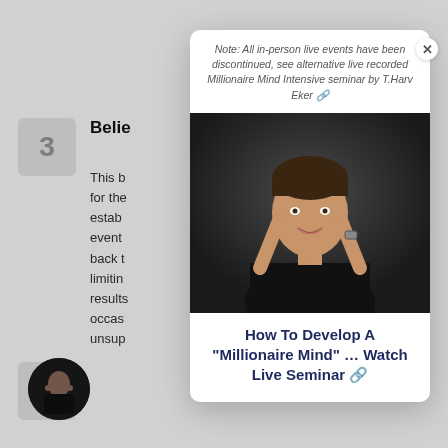Note: All in-person live events have been discontinued, see alternative live recorded Millionaire Mind Intensive seminar by T.Harv Eker 🔗
[Figure (photo): Man in black long-sleeve shirt pointing fingers to his temples, smiling, against dark background — T.Harv Eker promotional photo]
How To Develop A "Millionaire Mind" ... Watch Live Seminar 🔗
Belie
This b
for the
estab
event
back t
limitin
results
occas
unsup
[Figure (photo): Small circular thumbnail of man in black shirt pointing to temples]